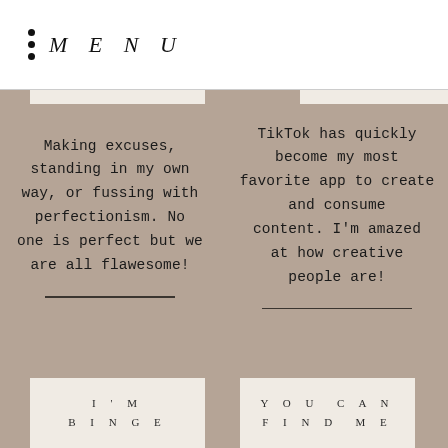MENU
Making excuses, standing in my own way, or fussing with perfectionism. No one is perfect but we are all flawesome!
TikTok has quickly become my most favorite app to create and consume content. I'm amazed at how creative people are!
[Figure (other): Bottom left card with text I'M BINGE (partially visible)]
[Figure (other): Bottom right card with text YOU CAN FIND ME (partially visible)]